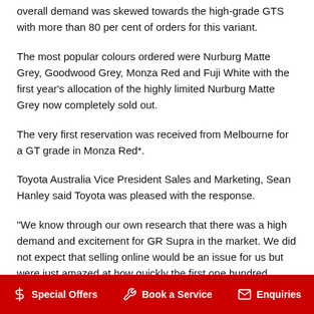overall demand was skewed towards the high-grade GTS with more than 80 per cent of orders for this variant.
The most popular colours ordered were Nurburg Matte Grey, Goodwood Grey, Monza Red and Fuji White with the first year's allocation of the highly limited Nurburg Matte Grey now completely sold out.
The very first reservation was received from Melbourne for a GT grade in Monza Red*.
Toyota Australia Vice President Sales and Marketing, Sean Hanley said Toyota was pleased with the response.
"We know through our own research that there was a high demand and excitement for GR Supra in the market. We did not expect that selling online would be an issue for us but were just amazed at how quickly the first one hundred
$ Special Offers   🔧 Book a Service   ✉ Enquiries